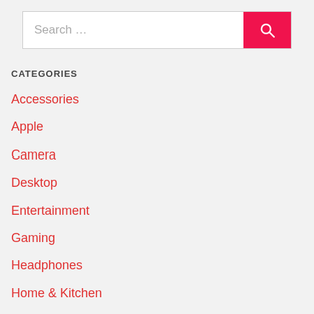[Figure (other): Search bar with text input field showing 'Search …' placeholder and a pink/red search button with magnifying glass icon]
CATEGORIES
Accessories
Apple
Camera
Desktop
Entertainment
Gaming
Headphones
Home & Kitchen